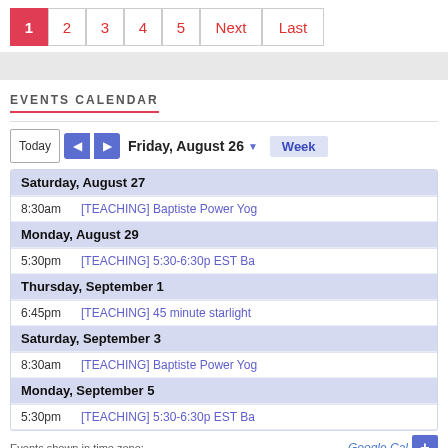Pagination: 1 (active), 2, 3, 4, 5, Next, Last
EVENTS CALENDAR
Today  |  Friday, August 26 ▼  |  Week
Saturday, August 27 — 8:30am [TEACHING] Baptiste Power Yog
Monday, August 29 — 5:30pm [TEACHING] 5:30-6:30p EST Ba
Thursday, September 1 — 6:45pm [TEACHING] 45 minute starlight
Saturday, September 3 — 8:30am [TEACHING] Baptiste Power Yog
Monday, September 5 — 5:30pm [TEACHING] 5:30-6:30p EST Ba
Events shown in time zone: